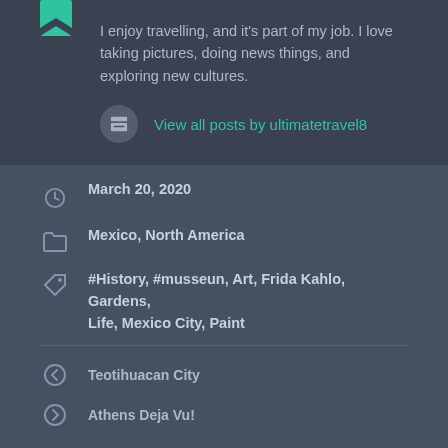I enjoy travelling, and it's part of my job. I love taking pictures, doing news things, and exploring new cultures.
View all posts by ultimatetravel8
March 20, 2020
Mexico, North America
#History, #musseun, Art, Frida Kahlo, Gardens, Life, Mexico City, Paint
Teotihuacan City
Athens Deja Vu!
19 thoughts on “At Home with